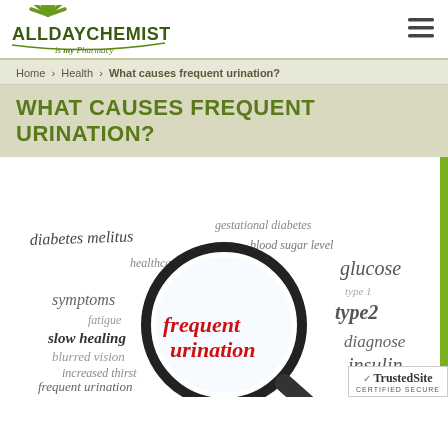ALLDAYCHEMIST is my Pharmacy
Home > Health > What causes frequent urination?
WHAT CAUSES FREQUENT URINATION?
[Figure (illustration): Word cloud illustration centered on a magnifying glass highlighting 'frequent urination' in red. Surrounding words in handwritten style include: diabetes melitus, gestational diabetes, blood sugar level, healthcare, glucose, type 1, type 2, symptoms, fatigue, slow healing, blurred vision, increased thirst, frequent urination, frequent infection, diagnose, insulin, and others.]
[Figure (logo): TrustedSite CERTIFIED SECURE badge in bottom-right corner]